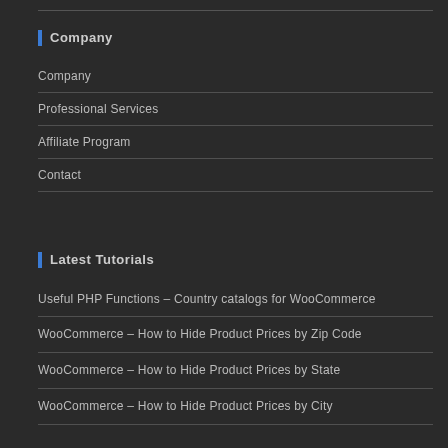Company
Company
Professional Services
Affiliate Program
Contact
Latest Tutorials
Useful PHP Functions – Country catalogs for WooCommerce
WooCommerce – How to Hide Product Prices by Zip Code
WooCommerce – How to Hide Product Prices by State
WooCommerce – How to Hide Product Prices by City